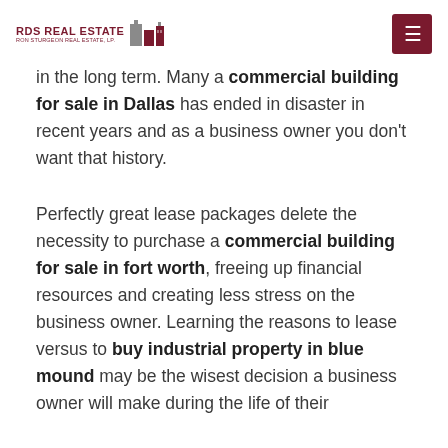RDS REAL ESTATE | RON STURGEON REAL ESTATE, LP.
in the long term. Many a commercial building for sale in Dallas has ended in disaster in recent years and as a business owner you don't want that history.
Perfectly great lease packages delete the necessity to purchase a commercial building for sale in fort worth, freeing up financial resources and creating less stress on the business owner. Learning the reasons to lease versus to buy industrial property in blue mound may be the wisest decision a business owner will make during the life of their